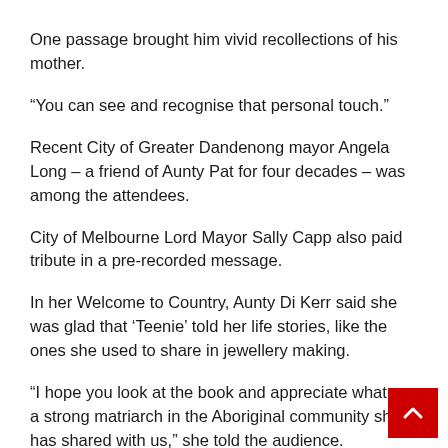One passage brought him vivid recollections of his mother.
“You can see and recognise that personal touch.”
Recent City of Greater Dandenong mayor Angela Long – a friend of Aunty Pat for four decades – was among the attendees.
City of Melbourne Lord Mayor Sally Capp also paid tribute in a pre-recorded message.
In her Welcome to Country, Aunty Di Kerr said she was glad that ‘Teenie’ told her life stories, like the ones she used to share in jewellery making.
“I hope you look at the book and appreciate what as a strong matriarch in the Aboriginal community she has shared with us,” she told the audience.
To her friend, she said: “I don’t know what our world would like without you.”